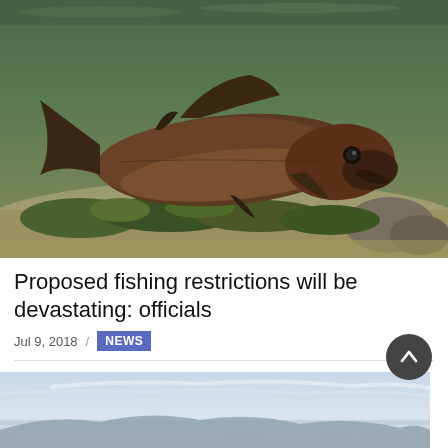[Figure (photo): Underwater photograph of a large salmon or similar fish swimming near a rocky, algae-covered riverbed with greenish water.]
Proposed fishing restrictions will be devastating: officials
Jul 9, 2018 / NEWS
[Figure (photo): Landscape photograph showing a lake or body of water with mountains and sky in background, partially visible at page bottom.]